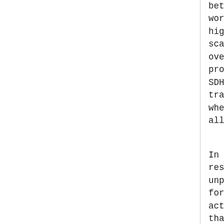between the different sin words, multilayer interac higher multiplexing level scale greater than the ne overall time to recover s protection switching is u SDH/SONET has had time to tradeoff between rapid rec where multiple layers are allocating resources in a
In other configurations w restoration capability or unprotected SDH/SONET lin for the lower layer to tr actions immediately. Thi that implementations must values and/or a means for higher layer that a fault take restoration or prote